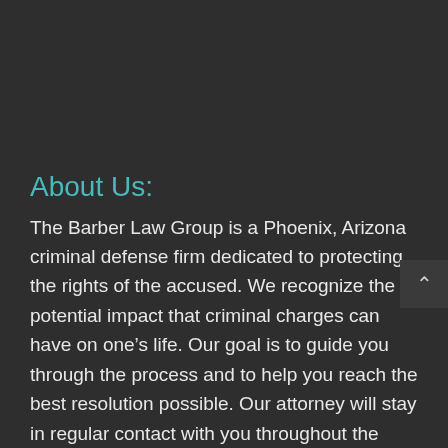About Us:
The Barber Law Group is a Phoenix, Arizona criminal defense firm dedicated to protecting the rights of the accused. We recognize the potential impact that criminal charges can have on one's life. Our goal is to guide you through the process and to help you reach the best resolution possible. Our attorney will stay in regular contact with you throughout the